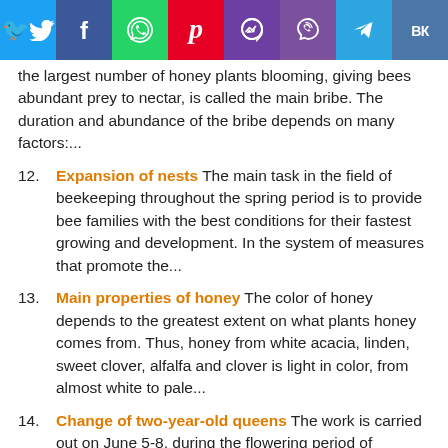[Figure (other): Social media sharing bar with icons: Twitter, Facebook, WhatsApp, Pinterest, Messenger, Viber, Telegram, VK]
the largest number of honey plants blooming, giving bees abundant prey to nectar, is called the main bribe. The duration and abundance of the bribe depends on many factors:...
12. Expansion of nests The main task in the field of beekeeping throughout the spring period is to provide bee families with the best conditions for their fastest growing and development. In the system of measures that promote the...
13. Main properties of honey The color of honey depends to the greatest extent on what plants honey comes from. Thus, honey from white acacia, linden, sweet clover, alfalfa and clover is light in color, from almost white to pale...
14. Change of two-year-old queens The work is carried out on June 5-8, during the flowering period of gardens and yellow acadia, in order to eliminate swarming and